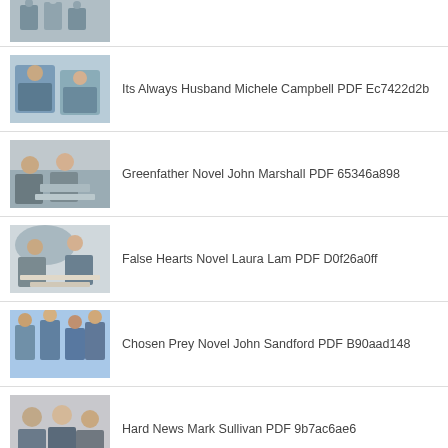[Figure (photo): Partial thumbnail of people jumping, cropped at top]
[Figure (photo): Thumbnail showing two people in a business meeting]
Its Always Husband Michele Campbell PDF Ec7422d2b
[Figure (photo): Thumbnail showing people around a table with laptops]
Greenfather Novel John Marshall PDF 65346a898
[Figure (photo): Thumbnail showing people at a meeting table]
False Hearts Novel Laura Lam PDF D0f26a0ff
[Figure (photo): Thumbnail showing people jumping outdoors]
Chosen Prey Novel John Sandford PDF B90aad148
[Figure (photo): Thumbnail showing business professionals]
Hard News Mark Sullivan PDF 9b7ac6ae6